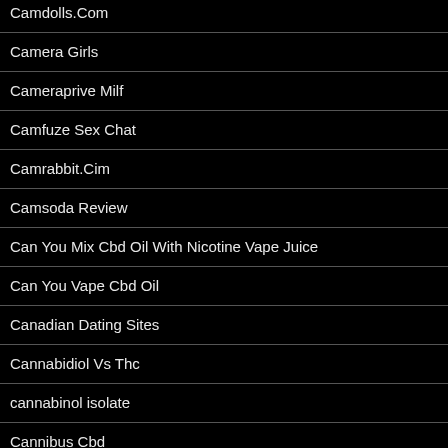Camdolls.Com
Camera Girls
Cameraprive Milf
Camfuze Sex Chat
Camrabbit.Cim
Camsoda Review
Can You Mix Cbd Oil With Nicotine Vape Juice
Can You Vape Cbd Oil
Canadian Dating Sites
Cannabidiol Vs Thc
cannabinol isolate
Cannibus Cbd
cape verde girls